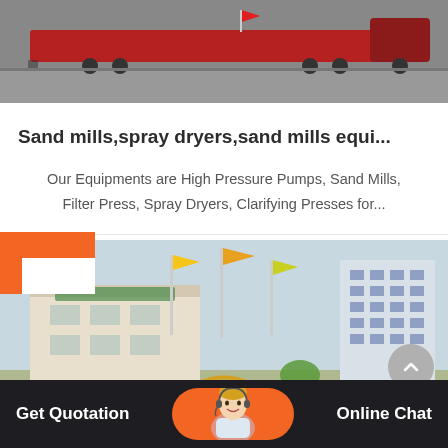[Figure (photo): Product photo showing industrial equipment (heavy machinery on a transport vehicle) with a red flag visible]
Sand mills,spray dryers,sand mills equi...
Our Equipments are High Pressure Pumps, Sand Mills, Filter Press, Spray Dryers, Clarifying Presses for...
[Figure (photo): Company building exterior photo showing a multi-story white building with Chinese characters signage and flagpoles with flags]
Get Quotation   Online Chat